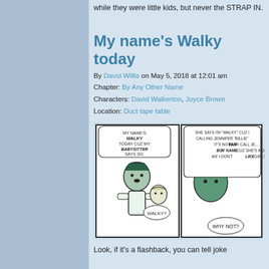while they were little kids, but never the STRAP IN.
My name's Walky today
By David Willis on May 5, 2018 at 12:01 am
Chapter: By Any Other Name
Characters: David Walkerton, Joyce Brown
Location: Duct tape table
[Figure (illustration): Comic strip showing two children. Left panel: a boy thinking 'My name's Walky today cuz my babysitter says so' with a girl saying 'Walky?'. Right panel: a child explaining 'She says I'm Walky cuz I calling Jennifer Billie it's not fair but I call Jennifer a boy name cuz she's a girl an' I don't like girls.' Another character says 'Why not?']
Look, if it's a flashback, you can tell joke
WALKYYYY!!
By David Willis on May 4, 2018 at 12:01 am